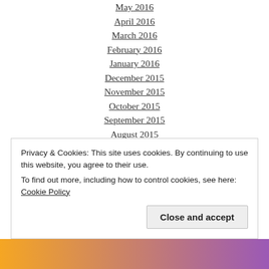May 2016
April 2016
March 2016
February 2016
January 2016
December 2015
November 2015
October 2015
September 2015
August 2015
July 2015
June 2015
May 2015
April 2015
Privacy & Cookies: This site uses cookies. By continuing to use this website, you agree to their use. To find out more, including how to control cookies, see here: Cookie Policy
Close and accept